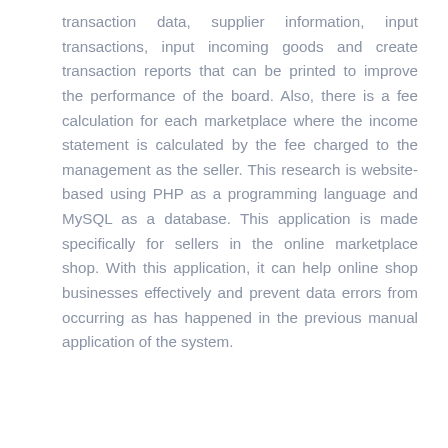transaction data, supplier information, input transactions, input incoming goods and create transaction reports that can be printed to improve the performance of the board. Also, there is a fee calculation for each marketplace where the income statement is calculated by the fee charged to the management as the seller. This research is website-based using PHP as a programming language and MySQL as a database. This application is made specifically for sellers in the online marketplace shop. With this application, it can help online shop businesses effectively and prevent data errors from occurring as has happened in the previous manual application of the system.